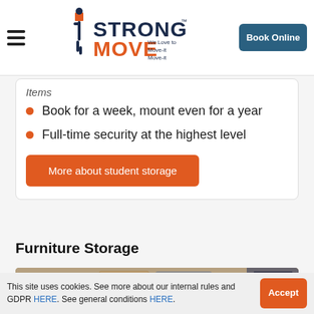Strong Move — We Love to Move-it Move-it | Book Online
Items
Book for a week, mount even for a year
Full-time security at the highest level
More about student storage
Furniture Storage
[Figure (photo): Interior of a furniture storage facility with wooden boxes and shelving units]
This site uses cookies. See more about our internal rules and GDPR HERE. See general conditions HERE.